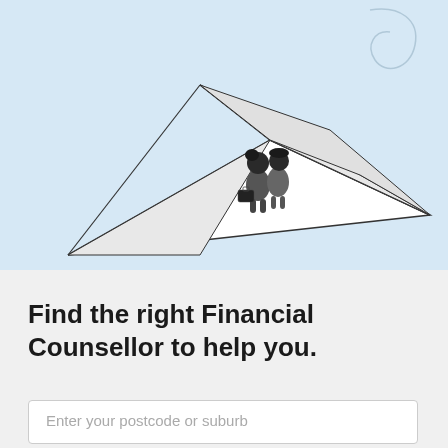[Figure (illustration): Illustration of two people riding on a paper airplane against a light blue background, with a looping flight path line in the upper right corner.]
Find the right Financial Counsellor to help you.
Enter your postcode or suburb